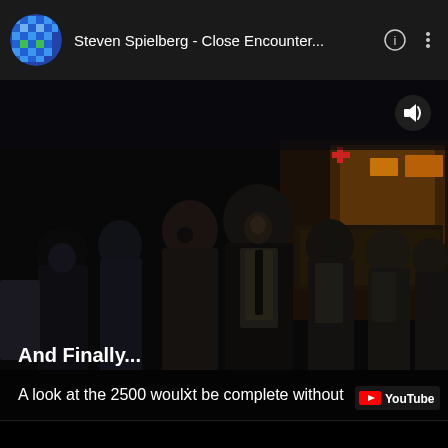Steven Spielberg - Close Encounter...
[Figure (screenshot): Dark movie still from Close Encounters of the Third Kind showing a group of people in silhouette and low light, men in suits and shirts looking upward, nighttime outdoor scene]
And Finally...
A look at the 2500 wouldn't be complete without